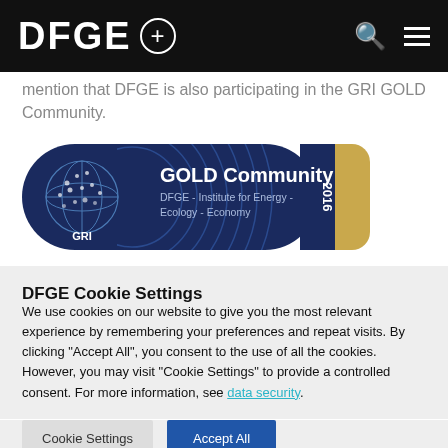DFGE ⊕
mention that DFGE is also participating in the GRI GOLD Community.
[Figure (logo): GRI GOLD Community 2016 badge — dark navy blue badge with gold right-side panel showing '2016'. Text reads: 'GOLD Community / DFGE - Institute for Energy - Ecology - Economy'. GRI globe logo on the left.]
DFGE Cookie Settings
We use cookies on our website to give you the most relevant experience by remembering your preferences and repeat visits. By clicking "Accept All", you consent to the use of all the cookies. However, you may visit "Cookie Settings" to provide a controlled consent. For more information, see data security.